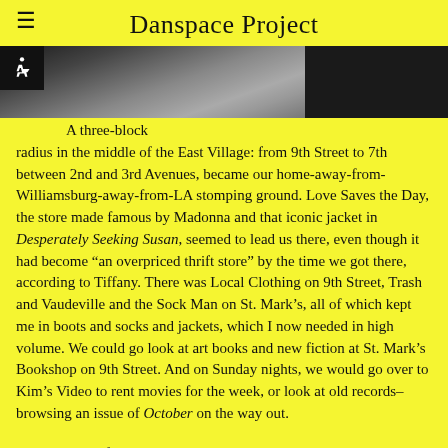Danspace Project
[Figure (photo): Partial photo strip showing a floor or surface with water droplets, dark background on left and right]
A three-block radius in the middle of the East Village: from 9th Street to 7th between 2nd and 3rd Avenues, became our home-away-from-Williamsburg-away-from-LA stomping ground. Love Saves the Day, the store made famous by Madonna and that iconic jacket in Desperately Seeking Susan, seemed to lead us there, even though it had become “an overpriced thrift store” by the time we got there, according to Tiffany. There was Local Clothing on 9th Street, Trash and Vaudeville and the Sock Man on St. Mark’s, all of which kept me in boots and socks and jackets, which I now needed in high volume. We could go look at art books and new fiction at St. Mark’s Bookshop on 9th Street. And on Sunday nights, we would go over to Kim’s Video to rent movies for the week, or look at old records–browsing an issue of October on the way out.
At the center of our little orbit was B&H Dairy, a kosher dairy diner that had opened in 1938 to serve the Yiddish theater district, active from the 1920s to the 1960s. Originally opened by Eastern European Jews, B&H had changed owners and nationalities many times over